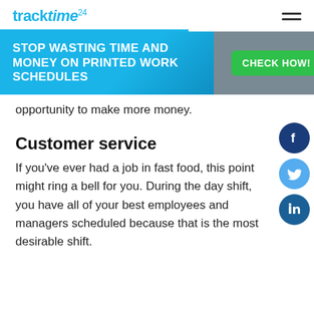tracktime24
[Figure (infographic): Banner with blue background on left reading STOP WASTING TIME AND MONEY ON PRINTED WORK SCHEDULES and gray background on right with green CHECK HOW! button]
opportunity to make more money.
Customer service
If you’ve ever had a job in fast food, this point might ring a bell for you. During the day shift, you have all of your best employees and managers scheduled because that is the most desirable shift.